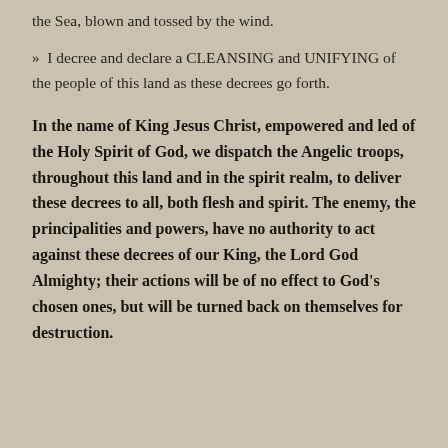the Sea, blown and tossed by the wind.
» I decree and declare a CLEANSING and UNIFYING of the people of this land as these decrees go forth.
In the name of King Jesus Christ, empowered and led of the Holy Spirit of God, we dispatch the Angelic troops, throughout this land and in the spirit realm, to deliver these decrees to all, both flesh and spirit. The enemy, the principalities and powers, have no authority to act against these decrees of our King, the Lord God Almighty; their actions will be of no effect to God's chosen ones, but will be turned back on themselves for destruction.